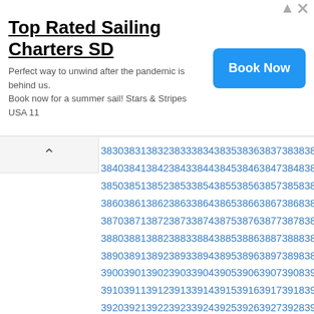[Figure (other): Advertisement banner for Top Rated Sailing Charters SD with Book Now button]
3830 3831 3832 3833 3834 3835 3836 3837 3838 3839 3840 3841 3842 3843 3844 3845 3846 3847 3848 3849 3850 3851 3852 3853 3854 3855 3856 3857 3858 3859 3860 3861 3862 3863 3864 3865 3866 3867 3868 3869 3870 3871 3872 3873 3874 3875 3876 3877 3878 3879 3880 3881 3882 3883 3884 3885 3886 3887 3888 3889 3890 3891 3892 3893 3894 3895 3896 3897 3898 3899 3900 3901 3902 3903 3904 3905 3906 3907 3908 3909 3910 3911 3912 3913 3914 3915 3916 3917 3918 3919 3920 3921 3922 3923 3924 3925 3926 3927 3928 3929 3930 3931 3932 3933 3934 3935 3936 3937 3938 3939 3940 3941 3942 3943 3944 3945 3946 3947 3948 3949 3950 3951 3952 3953 3954 3955 3956 3957 3958 3959 3960 3961 3962 3963 3964 3965 3966 3967 3968 3969 3970 3971 3972 3973 3974 3975 3976 3977 3978 3979 3980 3981 3982 3983 3984 3985 3986 3987 3988 3989 3990 3991 3992 3993 3994 3995 3996 3997 3998 3999